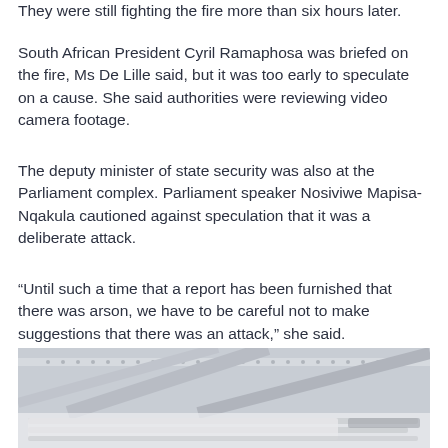They were still fighting the fire more than six hours later.
South African President Cyril Ramaphosa was briefed on the fire, Ms De Lille said, but it was too early to speculate on a cause. She said authorities were reviewing video camera footage.
The deputy minister of state security was also at the Parliament complex. Parliament speaker Nosiviwe Mapisa-Nqakula cautioned against speculation that it was a deliberate attack.
“Until such a time that a report has been furnished that there was arson, we have to be careful not to make suggestions that there was an attack,” she said.
[Figure (photo): Photograph of the South African Parliament building, showing classical architecture with columns and ornamental details, viewed from below against a hazy sky. The bottom portion shows a blurred/partially visible overlay or caption area.]